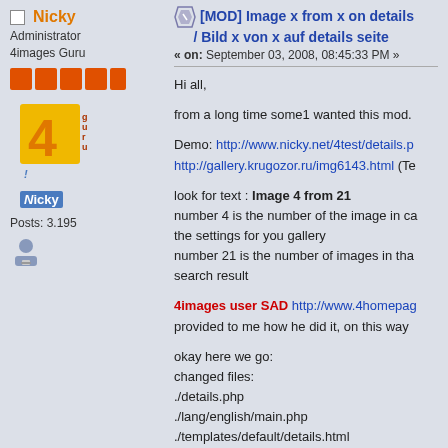Nicky — Administrator, 4images Guru
[Figure (illustration): 4images logo avatar and Nicky user badge]
Posts: 3.195
[MOD] Image x from x on details / Bild x von x auf details seite
« on: September 03, 2008, 08:45:33 PM »
Hi all,
from a long time some1 wanted this mod.
Demo: http://www.nicky.net/4test/details.p http://gallery.krugozor.ru/img6143.html (Te
look for text : Image 4 from 21 number 4 is the number of the image in ca the settings for you gallery number 21 is the number of images in tha search result
4images user SAD http://www.4homepag provided to me how he did it, on this way
okay here we go:
changed files:
./details.php
./lang/english/main.php
./templates/default/details.html